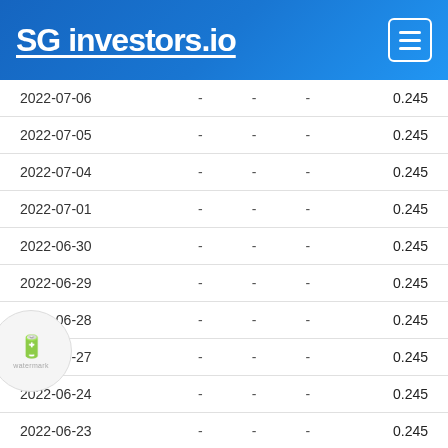SG investors.io
| Date |  |  |  | Value |
| --- | --- | --- | --- | --- |
| 2022-07-06 | - | - | - | 0.245 |
| 2022-07-05 | - | - | - | 0.245 |
| 2022-07-04 | - | - | - | 0.245 |
| 2022-07-01 | - | - | - | 0.245 |
| 2022-06-30 | - | - | - | 0.245 |
| 2022-06-29 | - | - | - | 0.245 |
| 2022-06-28 | - | - | - | 0.245 |
| 2022-06-27 | - | - | - | 0.245 |
| 2022-06-24 | - | - | - | 0.245 |
| 2022-06-23 | - | - | - | 0.245 |
| 2022-06-22 | - | - | - | 0.245 |
| 2022-06-21 | - | - | - | 0.245 |
| 2022-06-20 | - | - | - | 0.245 |